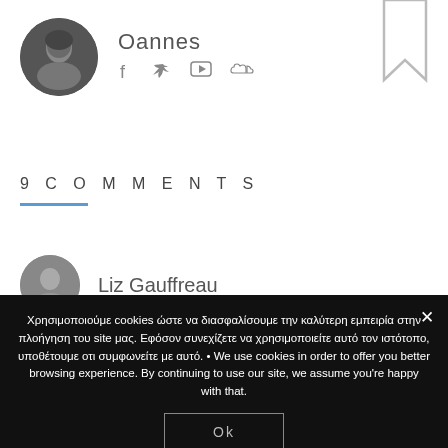[Figure (photo): Circular avatar photo of author Oannes, a man with dark features against a dark background]
Oannes
[Figure (infographic): Social media icons: Facebook (f), Twitter (bird), YouTube (play button), SoundCloud (cloud)]
[Figure (other): Bookmark/save icon in top right corner]
9 COMMENTS
[Figure (photo): Circular avatar photo of commenter Liz Gauffreau, a woman]
Liz Gauffreau
Χρησιμοποιούμε cookies ώστε να διασφαλίσουμε την καλύτερη εμπειρία στην πλοήγηση του site μας. Εφόσον συνεχίζετε να χρησιμοποιείτε αυτό τον ιστότοπο, υποθέτουμε οτι συμφωνείτε με αυτό. • We use cookies in order to offer you better browsing experience. By continuing to use our site, we assume you're happy with that.
Ok